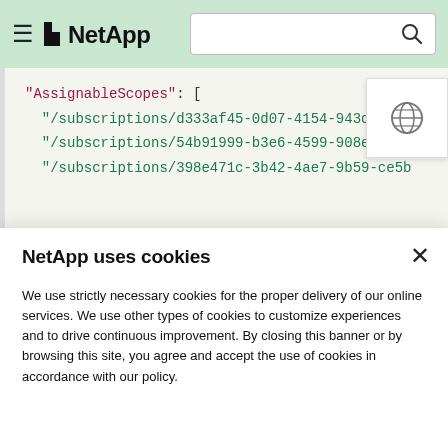NetApp navigation bar with hamburger menu, NetApp logo, and search box
[Figure (screenshot): Code block showing JSON with AssignableScopes array containing subscription paths: /subscriptions/d333af45-0d07-4154-943d-c25f..., /subscriptions/54b91999-b3e6-4599-908e-416e..., /subscriptions/398e471c-3b42-4ae7-9b59-ce5b...]
NetApp uses cookies
We use strictly necessary cookies for the proper delivery of our online services. We use other types of cookies to customize experiences and to drive continuous improvement. By closing this banner or by browsing this site, you agree and accept the use of cookies in accordance with our policy.
Accept all cookies
Cookie settings